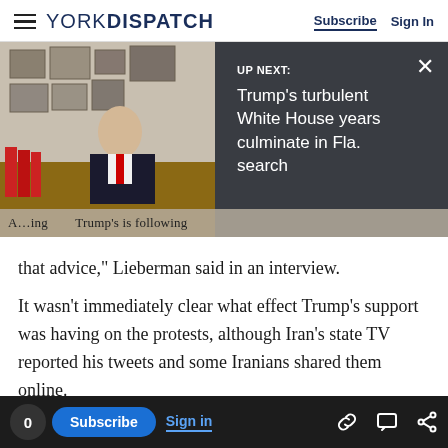YORK DISPATCH — Subscribe | Sign In
[Figure (screenshot): UP NEXT banner overlay on news image: 'UP NEXT: Trump's turbulent White House years culminate in Fla. search' with a photo of Trump at a desk on the left side]
...ing that advice," Lieberman said in an interview.
It wasn't immediately clear what effect Trump's support was having on the protests, although Iran's state TV reported his tweets and some Iranians shared them online.
Advertisement
0 Subscribe Sign in